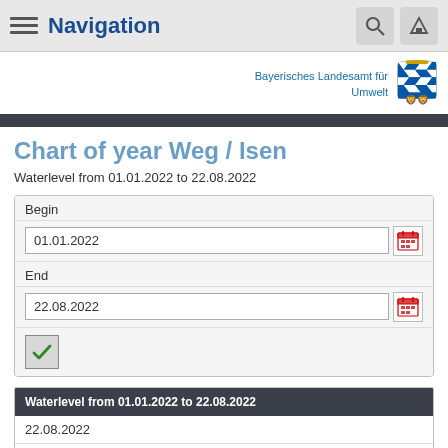Navigation
[Figure (logo): Bayerisches Landesamt für Umwelt coat of arms logo with text]
Chart of year Weg / Isen
Waterlevel from 01.01.2022 to 22.08.2022
| Begin |
| 01.01.2022 |
| End |
| 22.08.2022 |
| Waterlevel from 01.01.2022 to 22.08.2022 |
| --- |
| 22.08.2022 |
| 73 |